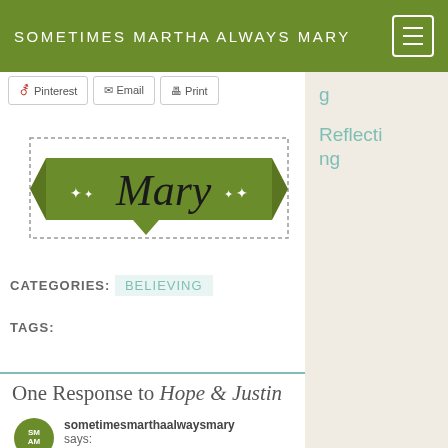SOMETIMES MARTHA ALWAYS MARY
[Figure (screenshot): Share buttons for Pinterest, Email, Print]
[Figure (illustration): Green ribbon/banner with cursive text 'Mary' and decorative arrows]
CATEGORIES: BELIEVING
TAGS:
One Response to Hope & Justin
sometimesmarthaalwaysmary says:
October 7, 2013 at 2:41 pm
P.S. Hope recently won an award for her song...
Reflecting